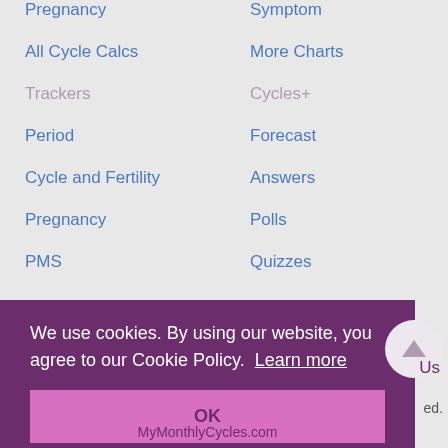Pregnancy
Symptom
All Cycle Calcs
More Charts
Trackers
Cycles+
Period
Forecast
Cycle and Fertility
Answers
Pregnancy
Polls
PMS
Quizzes
We use cookies. By using our website, you agree to our Cookie Policy. Learn more
OK
Us
ed.
MyMonthlyCycles.com